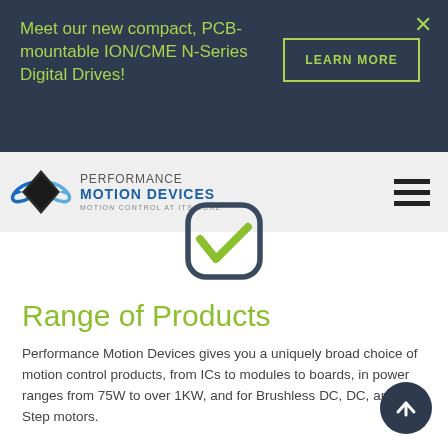Meet our new compact, PCB-mountable ION/CME N-Series Digital Drives!
LEARN MORE
[Figure (logo): Performance Motion Devices logo with blue swoosh icon and text 'PERFORMANCE MOTION DEVICES — MOTION CONTROL AT ITS CORE']
[Figure (illustration): Dark rounded square shield/badge icon with a green checkmark inside]
Range of Products
Performance Motion Devices gives you a uniquely broad choice of motion control products, from ICs to modules to boards, in power ranges from 75W to over 1KW, and for Brushless DC, DC, and Step motors.